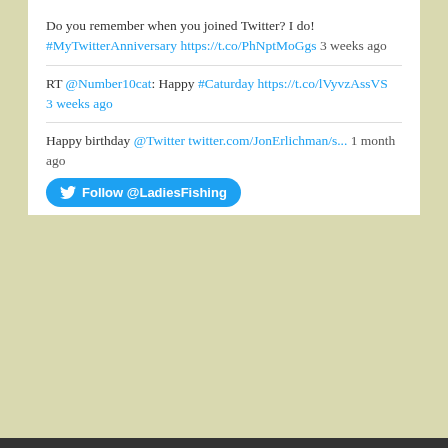Do you remember when you joined Twitter? I do! #MyTwitterAnniversary https://t.co/PhNptMoGgs 3 weeks ago
RT @Number10cat: Happy #Caturday https://t.co/lVyvzAssVS 3 weeks ago
Happy birthday @Twitter twitter.com/JonErlichman/s... 1 month ago
Follow @LadiesFishing
Ladies Fishing Facebook
Anne Woodcock Instagram
No Instagram images were found.